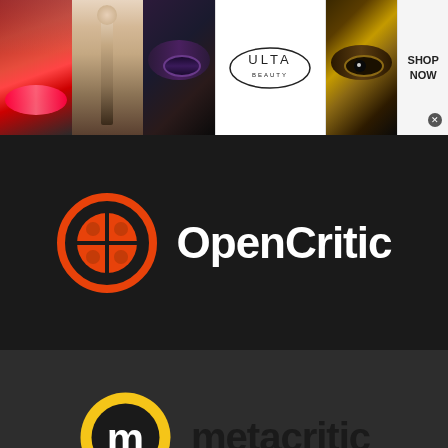[Figure (photo): Top advertisement banner showing beauty/makeup images with ULTA Beauty logo and 'SHOP NOW' call-to-action]
[Figure (logo): OpenCritic logo — orange circular icon with controller shape and white 'OpenCritic' text on dark background]
[Figure (logo): Metacritic logo — yellow circle with black 'm' and dark 'metacritic' text on dark background]
Privacy & Cookies: This site uses cookies. By continuing to use this website,
[Figure (photo): BitLife advertisement banner with rainbow stripes, text 'WHEN REAL LIFE IS QUARANTINED', BitLife logo, and emoji characters]